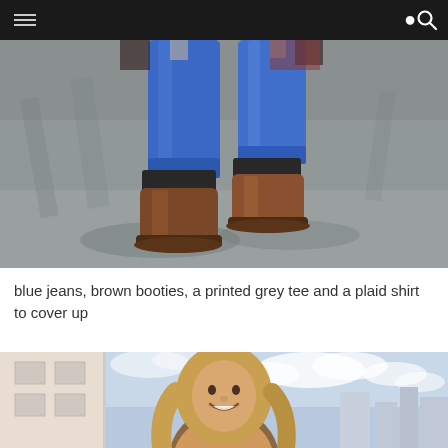[Figure (photo): Close-up photo of a person's lower body showing blue jeans with cuffed hems, brown leather Chelsea booties, walking on a grey asphalt road with dappled sunlight shadows]
blue jeans, brown booties, a printed grey tee and a plaid shirt to cover up
[Figure (photo): Photo of a smiling woman with long blonde hair standing outdoors against a cloudy sky background with a city skyline and beige building visible]